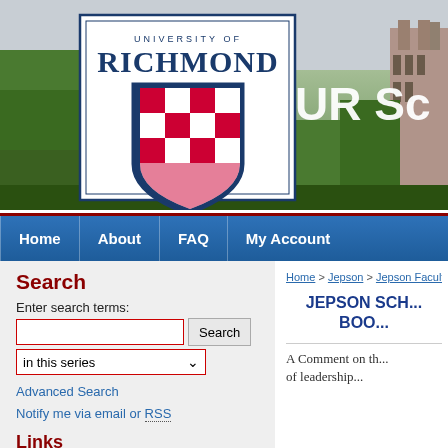[Figure (screenshot): University of Richmond banner with campus photo, shield logo, and 'UR Sc' text (partially visible)]
Home   About   FAQ   My Account
Search
Enter search terms:
in this series
Advanced Search
Notify me via email or RSS
Links
Home > Jepson > Jepson Faculty...
JEPSON SCH... BOO...
A Comment on th... of leadership...